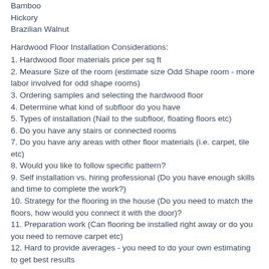Bamboo
Hickory
Brazilian Walnut
Hardwood Floor Installation Considerations:
1. Hardwood floor materials price per sq ft
2. Measure Size of the room (estimate size Odd Shape room - more labor involved for odd shape rooms)
3. Ordering samples and selecting the hardwood floor
4. Determine what kind of subfloor do you have
5. Types of installation (Nail to the subfloor, floating floors etc)
6. Do you have any stairs or connected rooms
7. Do you have any areas with other floor materials (i.e. carpet, tile etc)
8. Would you like to follow specific pattern?
9. Self installation vs. hiring professional (Do you have enough skills and time to complete the work?)
10. Strategy for the flooring in the house (Do you need to match the floors, how would you connect it with the door)?
11. Preparation work (Can flooring be installed right away or do you you need to remove carpet etc)
12. Hard to provide averages - you need to do your own estimating to get best results